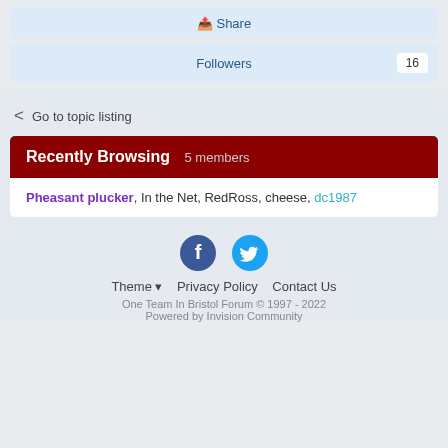Share
Followers 16
Go to topic listing
Recently Browsing 5 members
Pheasant plucker, In the Net, RedRoss, cheese, dc1987
[Figure (illustration): Facebook and Twitter social media icons]
Theme  Privacy Policy  Contact Us
One Team In Bristol Forum © 1997 - 2022
Powered by Invision Community